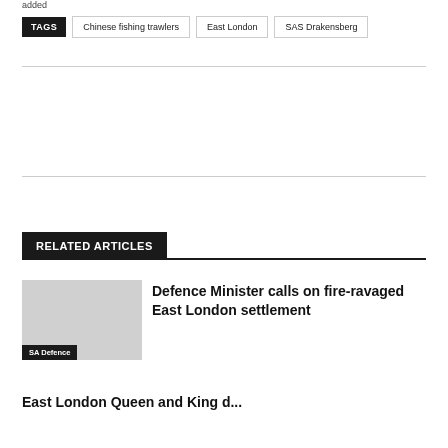added
TAGS  Chinese fishing trawlers  East London  SAS Drakensberg
RELATED ARTICLES
Defence Minister calls on fire-ravaged East London settlement
SA Defence
East London...